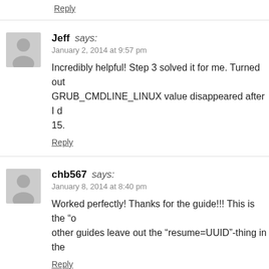Reply
Jeff says:
January 2, 2014 at 9:57 pm

Incredibly helpful! Step 3 solved it for me. Turned out GRUB_CMDLINE_LINUX value disappeared after I d 15.
Reply
chb567 says:
January 8, 2014 at 8:40 pm

Worked perfectly! Thanks for the guide!!! This is the "o other guides leave out the "resume=UUID"-thing in the
Reply